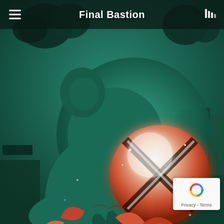[Figure (illustration): Fantasy illustration of a teal/dark blue-green anthropomorphic mouse or rat character holding a glowing red orb with a cross/X symbol on it. The scene is set in a teal-green atmospheric environment with dark silhouetted trees in the background. Red-orange leaves are visible at the bottom of the image. The character looks up reverently at the glowing sphere it cradles in its hands.]
Final Bastion
[Figure (logo): Google reCAPTCHA badge with blue recaptcha logo icon and text 'Privacy - Terms']